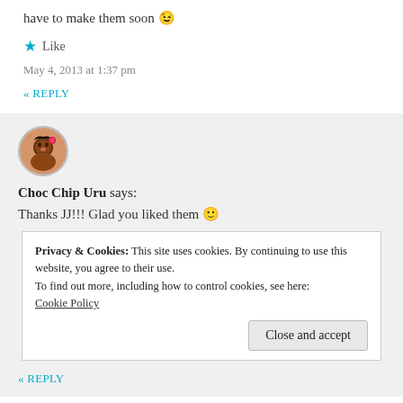have to make them soon 😉
★ Like
May 4, 2013 at 1:37 pm
« REPLY
[Figure (photo): Circular avatar of Choc Chip Uru, a cartoon-style illustration of a person with dark skin and braided hair]
Choc Chip Uru says:
Thanks JJ!!! Glad you liked them 🙂
Privacy & Cookies: This site uses cookies. By continuing to use this website, you agree to their use.
To find out more, including how to control cookies, see here:
Cookie Policy
Close and accept
« REPLY